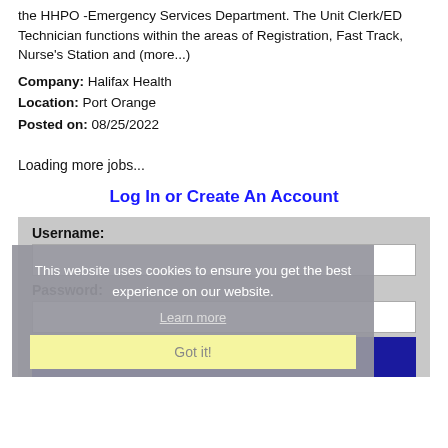the HHPO -Emergency Services Department. The Unit Clerk/ED Technician functions within the areas of Registration, Fast Track, Nurse's Station and (more...)
Company: Halifax Health
Location: Port Orange
Posted on: 08/25/2022
Loading more jobs...
Log In or Create An Account
Username:
This website uses cookies to ensure you get the best experience on our website.
Learn more
Got it!
Password:
Log In